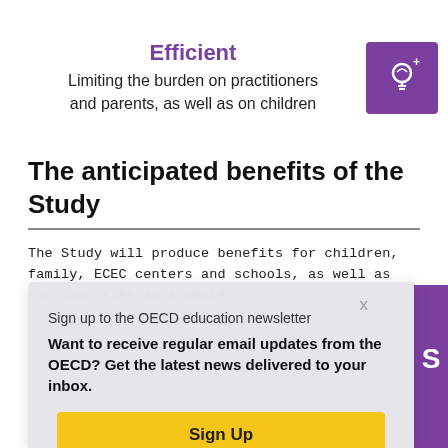Efficient
Limiting the burden on practitioners and parents, as well as on children
The anticipated benefits of the Study
The Study will produce benefits for children, family, ECEC centers and schools, as well as for countries as a whole.
Sign up to the OECD education newsletter
Want to receive regular email updates from the OECD? Get the latest news delivered to your inbox.
Sign Up
Share